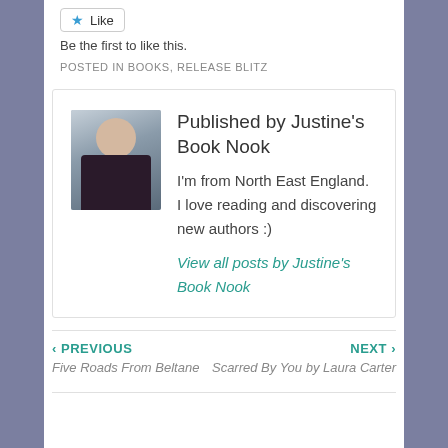Be the first to like this.
POSTED IN BOOKS, RELEASE BLITZ
Published by Justine's Book Nook
[Figure (photo): Profile photo of a young woman wearing a dark jacket and white t-shirt]
I'm from North East England. I love reading and discovering new authors :)
View all posts by Justine's Book Nook
‹ PREVIOUS
Five Roads From Beltane
NEXT ›
Scarred By You by Laura Carter